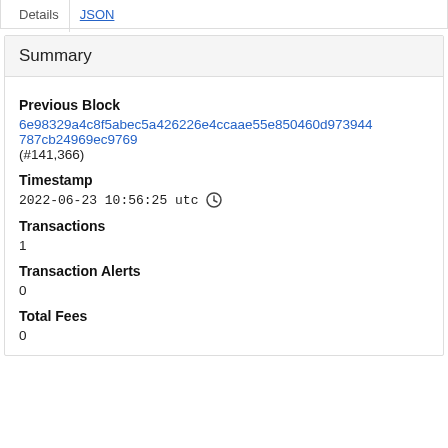Details   JSON
Summary
Previous Block
6e98329a4c8f5abec5a426226e4ccaae55e850460d973944787cb24969ec9769
(#141,366)
Timestamp
2022-06-23 10:56:25 utc
Transactions
1
Transaction Alerts
0
Total Fees
0